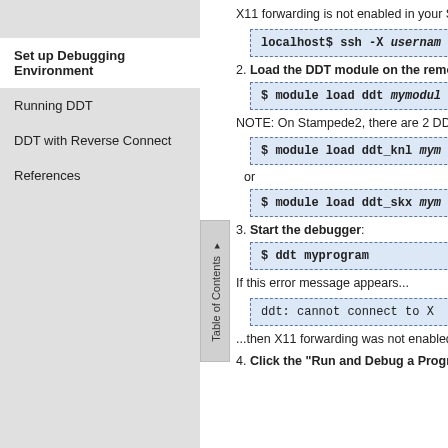Set up Debugging Environment
Running DDT
DDT with Reverse Connect
References
X11 forwarding is not enabled in your SS
localhost$ ssh -X username
2. Load the DDT module on the remote s
$ module load ddt mymodule
NOTE: On Stampede2, there are 2 DDT
$ module load ddt_knl mym
or
$ module load ddt_skx mym
3. Start the debugger:
$ ddt myprogram
If this error message appears...
ddt: cannot connect to X
...then X11 forwarding was not enabled. help desk for assistance.
4. Click the "Run and Debug a Program"